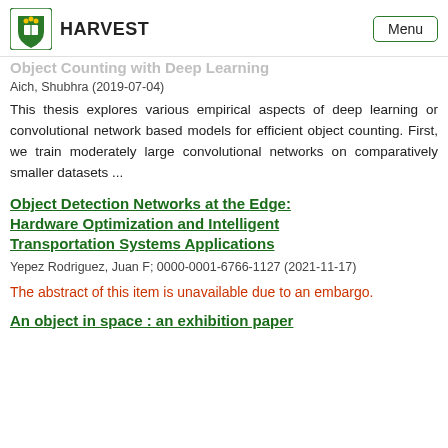HARVEST  Menu
Object Counting with Deep Learning
Aich, Shubhra (2019-07-04)
This thesis explores various empirical aspects of deep learning or convolutional network based models for efficient object counting. First, we train moderately large convolutional networks on comparatively smaller datasets ...
Object Detection Networks at the Edge: Hardware Optimization and Intelligent Transportation Systems Applications
Yepez Rodriguez, Juan F; 0000-0001-6766-1127 (2021-11-17)
The abstract of this item is unavailable due to an embargo.
An object in space : an exhibition paper